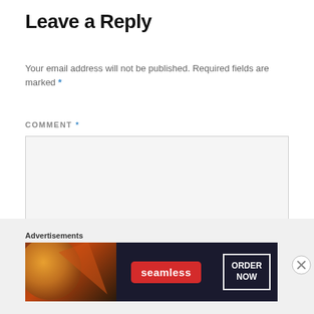Leave a Reply
Your email address will not be published. Required fields are marked *
COMMENT *
[Figure (screenshot): Empty comment text area input box with light gray background and border]
Advertisements
[Figure (screenshot): Seamless food ordering advertisement banner with pizza image on dark background, red Seamless logo badge, and ORDER NOW button in white border box]